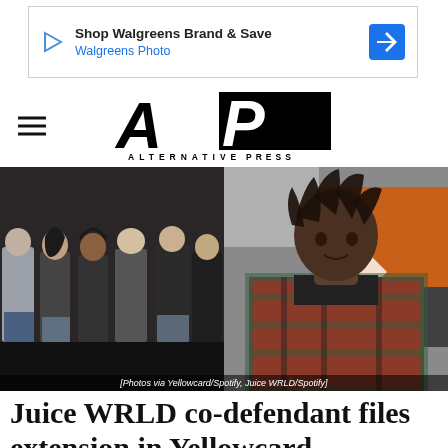[Figure (screenshot): Walgreens advertisement banner with play icon, text 'Shop Walgreens Brand & Save / Walgreens Photo', and blue direction/navigation icon]
[Figure (logo): Alternative Press (AP) logo with hamburger menu icon on left. Large italic bold 'AP' letters with 'ALTERNATIVE PRESS' text below in spaced capitals.]
[Figure (photo): Split photo: left side shows a band (Yellowcard) posed in dark clothing against a dark background; right side shows Juice WRLD with dreadlocks wearing a plaid shirt in front of an industrial background. Caption reads: [Photos via Yellowcard/Spotify, Juice WRLD/Spotify]]
Juice WRLD co-defendant files extension in Yellowcard